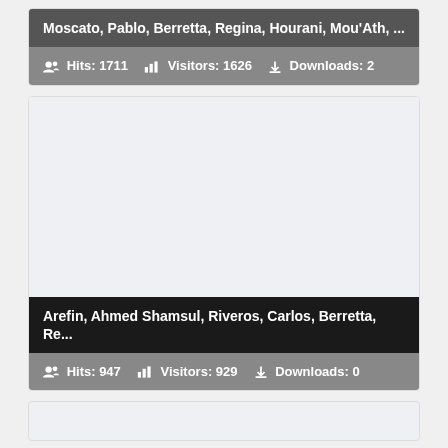Moscato, Pablo, Berretta, Regina, Hourani, Mou'Ath, ...
Hits: 1711   Visitors: 1626   Downloads: 2
[Figure (other): Light gray placeholder image area]
Arefin, Ahmed Shamsul, Riveros, Carlos, Berretta, Re...
Hits: 947   Visitors: 929   Downloads: 0